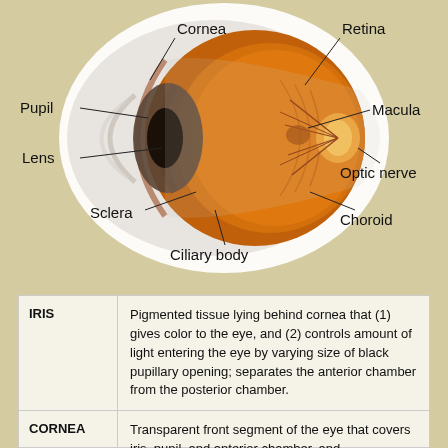[Figure (illustration): Cross-sectional anatomical diagram of the human eye showing labeled parts: Cornea, Retina, Pupil, Macula, Lens, Optic nerve, Sclera, Choroid, Ciliary body. The eye is shown in a circular white frame against a tan/beige background, with internal structures rendered in orange/brown tones.]
| Term | Definition |
| --- | --- |
| IRIS | Pigmented tissue lying behind cornea that (1) gives color to the eye, and (2) controls amount of light entering the eye by varying size of black pupillary opening; separates the anterior chamber from the posterior chamber. |
| CORNEA | Transparent front segment of the eye that covers iris, pupil, and anterior chamber, and |